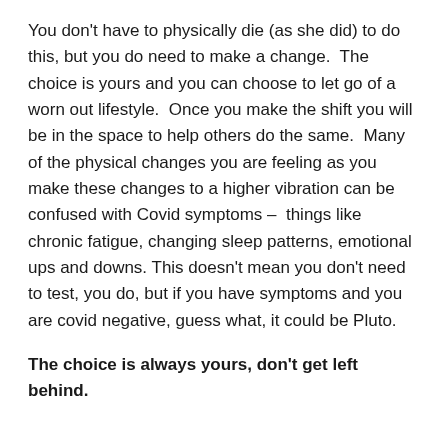You don't have to physically die (as she did) to do this, but you do need to make a change. The choice is yours and you can choose to let go of a worn out lifestyle. Once you make the shift you will be in the space to help others do the same. Many of the physical changes you are feeling as you make these changes to a higher vibration can be confused with Covid symptoms – things like chronic fatigue, changing sleep patterns, emotional ups and downs. This doesn't mean you don't need to test, you do, but if you have symptoms and you are covid negative, guess what, it could be Pluto.
The choice is always yours, don't get left behind.